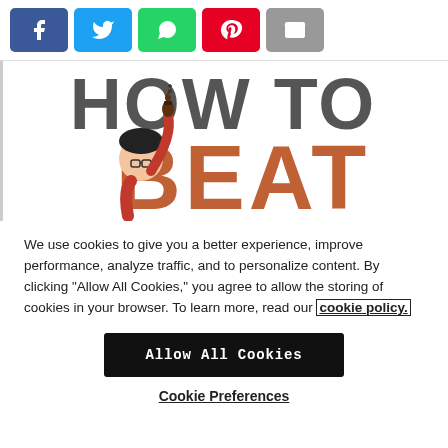[Figure (infographic): Social share buttons row: Facebook (blue), Twitter (light blue), WhatsApp (green), Pinterest (red), Email (grey)]
[Figure (illustration): Partial book cover showing 'HOW TO BEAT' in large text with an illustrated character holding up a chess piece.]
We use cookies to give you a better experience, improve performance, analyze traffic, and to personalize content. By clicking "Allow All Cookies," you agree to allow the storing of cookies in your browser. To learn more, read our cookie policy.
Allow All Cookies
Cookie Preferences